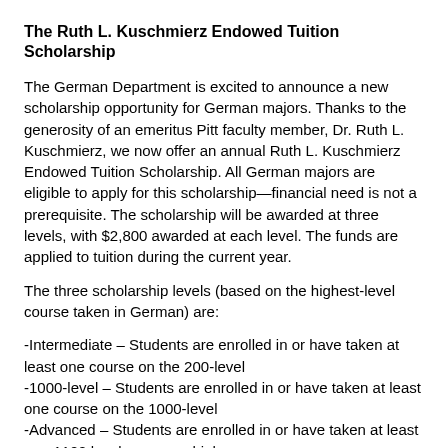The Ruth L. Kuschmierz Endowed Tuition Scholarship
The German Department is excited to announce a new scholarship opportunity for German majors. Thanks to the generosity of an emeritus Pitt faculty member, Dr. Ruth L. Kuschmierz, we now offer an annual Ruth L. Kuschmierz Endowed Tuition Scholarship. All German majors are eligible to apply for this scholarship—financial need is not a prerequisite. The scholarship will be awarded at three levels, with $2,800 awarded at each level. The funds are applied to tuition during the current year.
The three scholarship levels (based on the highest-level course taken in German) are:
-Intermediate – Students are enrolled in or have taken at least one course on the 200-level
-1000-level – Students are enrolled in or have taken at least one course on the 1000-level
-Advanced – Students are enrolled in or have taken at least one 1100 level course or higher